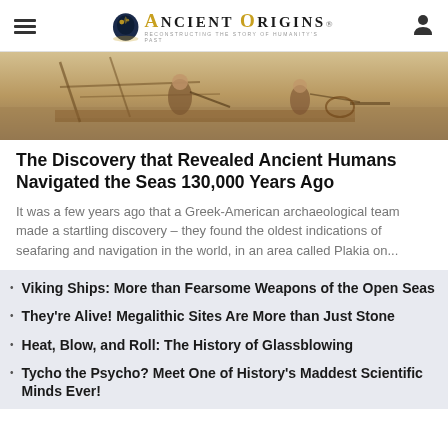Ancient Origins — Reconstructing the Story of Humanity's Past
[Figure (photo): Ancient scene depicting people working on what appears to be construction or seafaring activities, painted in warm earth tones.]
The Discovery that Revealed Ancient Humans Navigated the Seas 130,000 Years Ago
It was a few years ago that a Greek-American archaeological team made a startling discovery – they found the oldest indications of seafaring and navigation in the world, in an area called Plakia on...
Viking Ships: More than Fearsome Weapons of the Open Seas
They're Alive! Megalithic Sites Are More than Just Stone
Heat, Blow, and Roll: The History of Glassblowing
Tycho the Psycho? Meet One of History's Maddest Scientific Minds Ever!